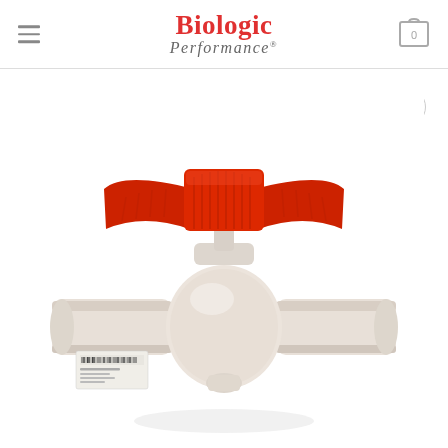Biologic Performance
[Figure (photo): PVC ball valve with red T-handle on top and white/cream cylindrical body with pipe connections on both ends. A barcode label is visible on the left pipe end.]